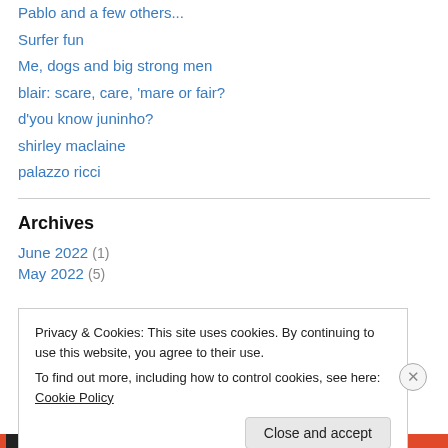Pablo and a few others...
Surfer fun
Me, dogs and big strong men
blair: scare, care, 'mare or fair?
d'you know juninho?
shirley maclaine
palazzo ricci
Archives
June 2022 (1)
May 2022 (5)
Privacy & Cookies: This site uses cookies. By continuing to use this website, you agree to their use. To find out more, including how to control cookies, see here: Cookie Policy